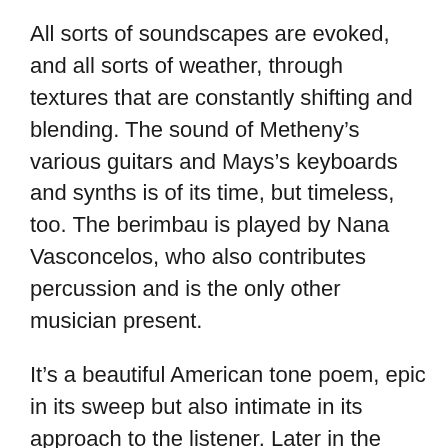All sorts of soundscapes are evoked, and all sorts of weather, through textures that are constantly shifting and blending. The sound of Metheny's various guitars and Mays's keyboards and synths is of its time, but timeless, too. The berimbau is played by Nana Vasconcelos, who also contributes percussion and is the only other musician present.
It's a beautiful American tone poem, epic in its sweep but also intimate in its approach to the listener. Later in the decade Metheny's group would record the great “Last Train Home”, which felt then, and still feels, like a coda to the longer piece.
Lyle Mays died on February 10, aged 66, after a long illness. “As Falls Wichita, So Falls Wichita Falls” is likely to live as long as people are still listening to the recorded